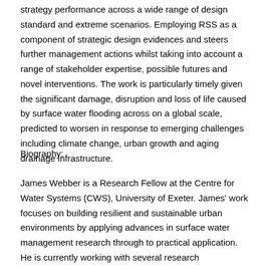strategy performance across a wide range of design standard and extreme scenarios. Employing RSS as a component of strategic design evidences and steers further management actions whilst taking into account a range of stakeholder expertise, possible futures and novel interventions. The work is particularly timely given the significant damage, disruption and loss of life caused by surface water flooding across on a global scale, predicted to worsen in response to emerging challenges including climate change, urban growth and aging drainage infrastructure.
Biography:
James Webber is a Research Fellow at the Centre for Water Systems (CWS), University of Exeter. James' work focuses on building resilient and sustainable urban environments by applying advances in surface water management research through to practical application. He is currently working with several research collaborations, including investigating regional scale application of SuDS in the UK through 'SWEEP' (the South West partnership for Economic and Environmental